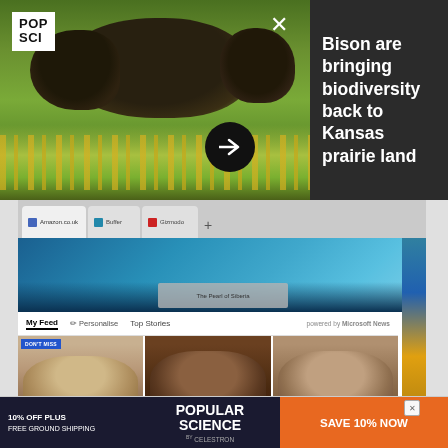[Figure (photo): Bison grazing in yellow wildflowers on Kansas prairie land, with Popular Science (POP SCI) logo in top left, a dark overlay panel on the right with headline text, close button, and arrow navigation button]
Bison are bringing biodiversity back to Kansas prairie land
[Figure (screenshot): Screenshot of Microsoft Edge browser new tab page showing bookmarks bar with Amazon.co.uk, Buffer, Gizmodo tabs, a Siberia background photo, My Feed / Personalise / Top Stories navigation tabs powered by Microsoft News, and a DON'T MISS section with three partially visible faces]
The revamped Edge can bring news right to your new tab page. Also, try guessing who those people are from just their eyes and foreheads. David Nield
[Figure (screenshot): Advertisement banner for Popular Science / Celestron: 10% OFF PLUS FREE GROUND SHIPPING, SAVE 10% NOW]
Edge i…r.